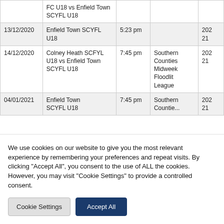| Date | Match | Time | Competition | Season |
| --- | --- | --- | --- | --- |
|  | FC U18 vs Enfield Town SCYFL U18 |  |  |  |
| 13/12/2020 | Enfield Town SCYFL U18 | 5:23 pm |  | 2021 |
| 14/12/2020 | Colney Heath SCFYL U18 vs Enfield Town SCYFL U18 | 7:45 pm | Southern Counties Midweek Floodlit League | 202 21 |
| 04/01/2021 | Enfield Town SCYFL U18 | 7:45 pm | Southern Counties... | 202 21 |
We use cookies on our website to give you the most relevant experience by remembering your preferences and repeat visits. By clicking "Accept All", you consent to the use of ALL the cookies. However, you may visit "Cookie Settings" to provide a controlled consent.